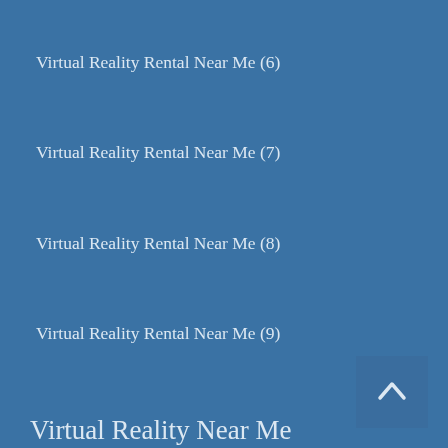Virtual Reality Rental Near Me (6)
Virtual Reality Rental Near Me (7)
Virtual Reality Rental Near Me (8)
Virtual Reality Rental Near Me (9)
Virtual Reality Near Me
Virtual Reality Near Me
Virtual Reality Near Me (2)
Virtual Reality Near Me (3)
Virtual Reality Near Me (4)
Virtual Reality Near Me (5)